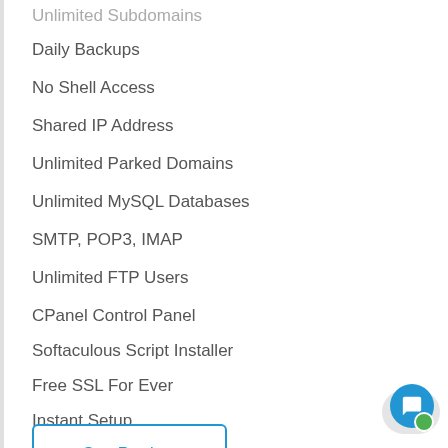Unlimited Subdomains
Daily Backups
No Shell Access
Shared IP Address
Unlimited Parked Domains
Unlimited MySQL Databases
SMTP, POP3, IMAP
Unlimited FTP Users
CPanel Control Panel
Softaculous Script Installer
Free SSL For Ever
Instant Setup
See Product